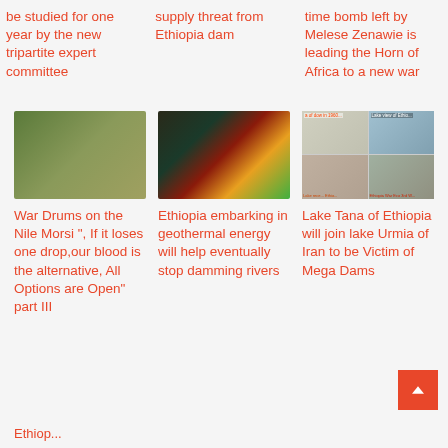be studied for one year by the new tripartite expert committee
supply threat from Ethiopia dam
time bomb left by Melese Zenawie is leading the Horn of Africa to a new war
[Figure (photo): Construction site of a large dam]
[Figure (photo): Geothermal satellite map image with colorful heat signatures]
[Figure (photo): Collage of four images showing Lake Tana and mega dam impacts]
War Drums on the Nile Morsi ", If it loses one drop,our blood is the alternative, All Options are Open" part III
Ethiopia embarking in geothermal energy will help eventually stop damming rivers
Lake Tana of Ethiopia will join lake Urmia of Iran to be Victim of Mega Dams
Ethiop...